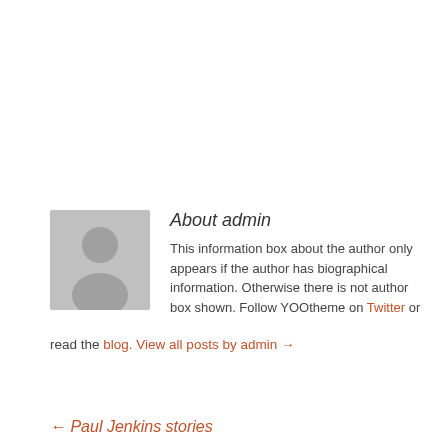[Figure (illustration): Grey placeholder avatar image showing a silhouette of a person (head and shoulders) on a grey background]
About admin
This information box about the author only appears if the author has biographical information. Otherwise there is not author box shown. Follow YOOtheme on Twitter or read the blog. View all posts by admin →
← Paul Jenkins stories